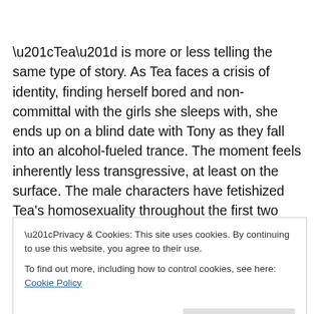“Tea” is more or less telling the same type of story. As Tea faces a crisis of identity, finding herself bored and non-committal with the girls she sleeps with, she ends up on a blind date with Tony as they fall into an alcohol-fueled trance. The moment feels inherently less transgressive, at least on the surface. The male characters have fetishized Tea’s homosexuality throughout the first two episodes, and it is considered almost typical for horny teenage males to dream of seducing a lesbian, meaning that Tony is acting
Privacy & Cookies: This site uses cookies. By continuing to use this website, you agree to their use.
To find out more, including how to control cookies, see here: Cookie Policy
key piece of characterization which added necessary